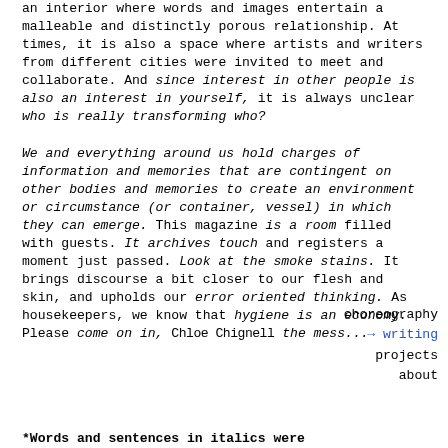an interior where words and images entertain a malleable and distinctly porous relationship. At times, it is also a space where artists and writers from different cities were invited to meet and collaborate. And since interest in other people is also an interest in yourself, it is always unclear who is really transforming who?

We and everything around us hold charges of information and memories that are contingent on other bodies and memories to create an environment or circumstance (or container, vessel) in which they can emerge. This magazine is a room filled with guests. It archives touch and registers a moment just passed. Look at the smoke stains. It brings discourse a bit closer to our flesh and skin, and upholds our error oriented thinking. As housekeepers, we know that hygiene is an economy. Please come on in, Chloe Chignell the mess...
choreography
→ writing
projects
about
*Words and sentences in italics were